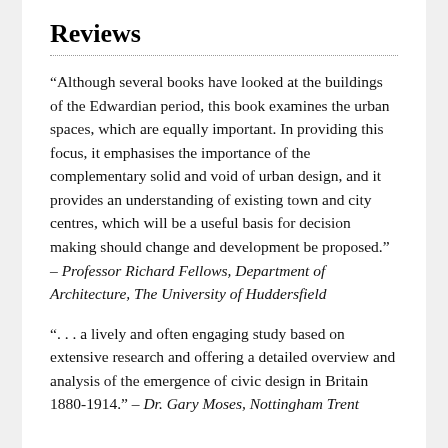Reviews
“Although several books have looked at the buildings of the Edwardian period, this book examines the urban spaces, which are equally important. In providing this focus, it emphasises the importance of the complementary solid and void of urban design, and it provides an understanding of existing town and city centres, which will be a useful basis for decision making should change and development be proposed.” – Professor Richard Fellows, Department of Architecture, The University of Huddersfield
“. . . a lively and often engaging study based on extensive research and offering a detailed overview and analysis of the emergence of civic design in Britain 1880-1914.” – Dr. Gary Moses, Nottingham Trent